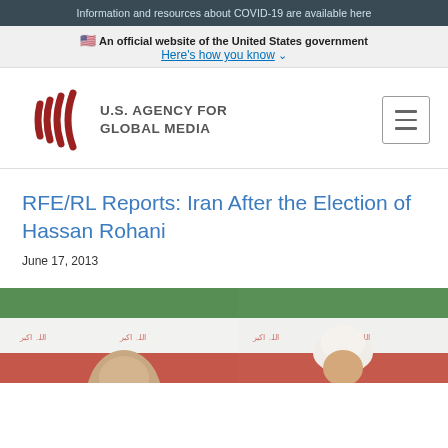Information and resources about COVID-19 are available here
🇺🇸 An official website of the United States government
Here's how you know ∨
[Figure (logo): U.S. Agency for Global Media logo with radio wave icon]
RFE/RL Reports: Iran After the Election of Hassan Rohani
June 17, 2013
[Figure (photo): Photo of Hassan Rohani with Iranian flags in background, shown cropped at bottom of page]